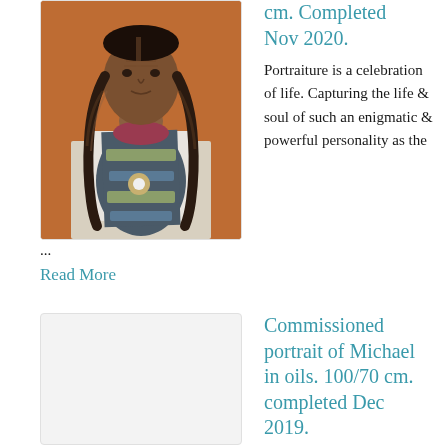[Figure (photo): Portrait painting of an elderly Native American man with long braids, wearing a decorative vest with beadwork and a white shirt, against an orange/brown background.]
cm. Completed Nov 2020.
Portraiture is a celebration of life. Capturing the life & soul of such an enigmatic & powerful personality as the
...
Read More
[Figure (photo): Empty/placeholder image box for commissioned portrait of Michael.]
Commissioned portrait of Michael in oils. 100/70 cm. completed Dec 2019.
This portrait of Michael was painted both from life